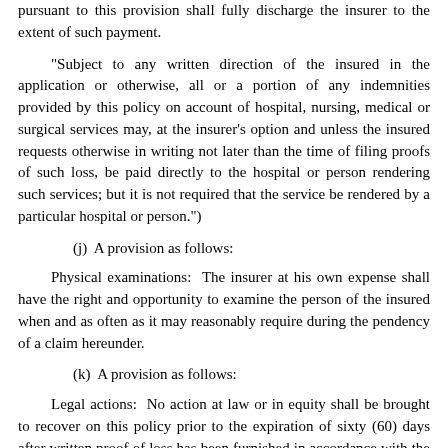pursuant to this provision shall fully discharge the insurer to the extent of such payment.
"Subject to any written direction of the insured in the application or otherwise, all or a portion of any indemnities provided by this policy on account of hospital, nursing, medical or surgical services may, at the insurer's option and unless the insured requests otherwise in writing not later than the time of filing proofs of such loss, be paid directly to the hospital or person rendering such services; but it is not required that the service be rendered by a particular hospital or person.")
(j)  A provision as follows:
Physical examinations:  The insurer at his own expense shall have the right and opportunity to examine the person of the insured when and as often as it may reasonably require during the pendency of a claim hereunder.
(k)  A provision as follows:
Legal actions:  No action at law or in equity shall be brought to recover on this policy prior to the expiration of sixty (60) days after written proof of loss has been furnished in accordance with the requirements of this policy.  No such action shall be brought after the expiration of three (3) years after the time written proof of